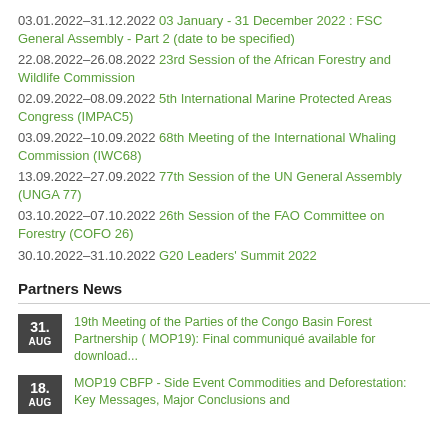03.01.2022–31.12.2022 03 January - 31 December 2022 : FSC General Assembly - Part 2 (date to be specified)
22.08.2022–26.08.2022 23rd Session of the African Forestry and Wildlife Commission
02.09.2022–08.09.2022 5th International Marine Protected Areas Congress (IMPAC5)
03.09.2022–10.09.2022 68th Meeting of the International Whaling Commission (IWC68)
13.09.2022–27.09.2022 77th Session of the UN General Assembly (UNGA 77)
03.10.2022–07.10.2022 26th Session of the FAO Committee on Forestry (COFO 26)
30.10.2022–31.10.2022 G20 Leaders' Summit 2022
Partners News
31. AUG — 19th Meeting of the Parties of the Congo Basin Forest Partnership ( MOP19): Final communiqué available for download...
18. AUG — MOP19 CBFP - Side Event Commodities and Deforestation: Key Messages, Major Conclusions and